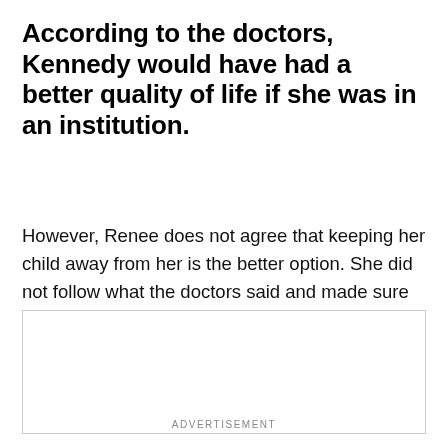According to the doctors, Kennedy would have had a better quality of life if she was in an institution.
However, Renee does not agree that keeping her child away from her is the better option. She did not follow what the doctors said and made sure that Kennedy would grow up healthy and strong by her side.
[Figure (other): Empty advertisement box placeholder]
ADVERTISEMENT